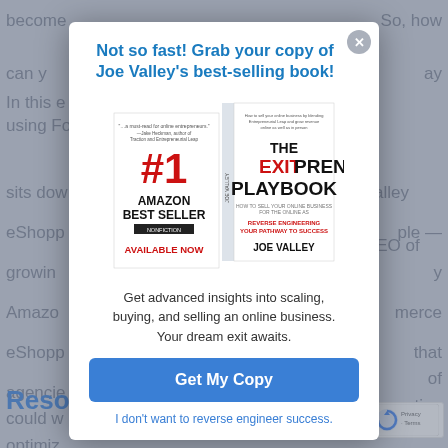[Figure (screenshot): A modal popup overlay on a webpage background. The modal contains a headline in blue bold text, a book cover image for 'The Exitpreneur's Playbook' by Joe Valley labeled as #1 Amazon Best Seller available now, a description blurb, a blue 'Get My Copy' button, and a decline link. The background shows partially visible webpage text.]